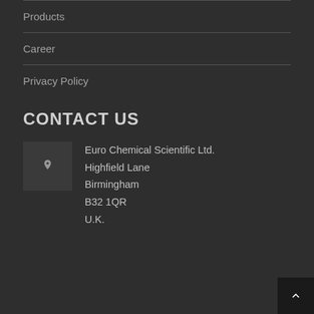Products
Career
Privacy Policy
CONTACT US
Euro Chemical Scientific Ltd.
Highfield Lane
Birmingham
B32 1QR
U.K.